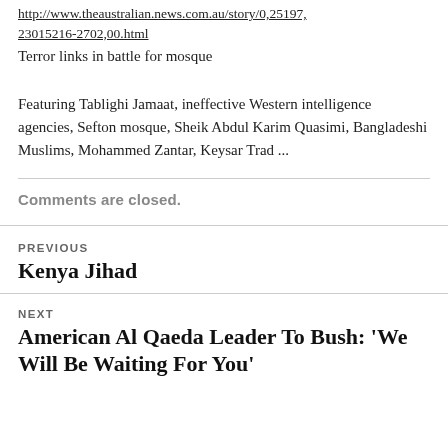http://www.theaustralian.news.com.au/story/0,25197,23015216-2702,00.html
Terror links in battle for mosque
Featuring Tablighi Jamaat, ineffective Western intelligence agencies, Sefton mosque, Sheik Abdul Karim Quasimi, Bangladeshi Muslims, Mohammed Zantar, Keysar Trad ...
Comments are closed.
PREVIOUS
Kenya Jihad
NEXT
American Al Qaeda Leader To Bush: 'We Will Be Waiting For You'